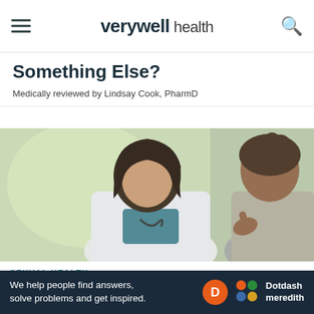verywell health
Something Else?
Medically reviewed by Lindsay Cook, PharmD
[Figure (photo): A female doctor in a white coat with stethoscope talking with a female patient in a medical office setting.]
SEXUAL HEALTH
How to Get Rid of a Yeast
Ad
We help people find answers, solve problems and get inspired. Dotdash meredith